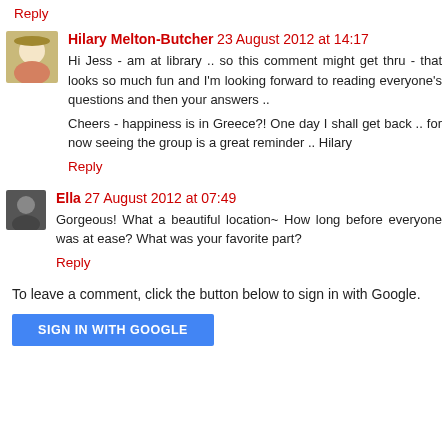Reply
Hilary Melton-Butcher  23 August 2012 at 14:17
Hi Jess - am at library .. so this comment might get thru - that looks so much fun and I'm looking forward to reading everyone's questions and then your answers ..

Cheers - happiness is in Greece?! One day I shall get back .. for now seeing the group is a great reminder .. Hilary
Reply
Ella  27 August 2012 at 07:49
Gorgeous! What a beautiful location~ How long before everyone was at ease? What was your favorite part?
Reply
To leave a comment, click the button below to sign in with Google.